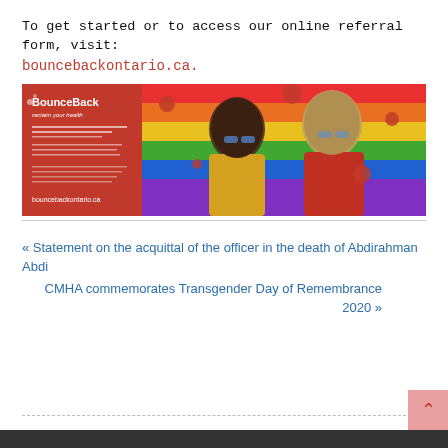To get started or to access our online referral form, visit:
bouncebackontario.ca.
[Figure (photo): BounceBack promotional banner showing two young women laughing and celebrating with a rainbow flag background, with BounceBack branding and website bouncebackontario.ca on the left red panel]
« Statement on the acquittal of the officer in the death of Abdirahman Abdi
CMHA commemorates Transgender Day of Remembrance 2020 »